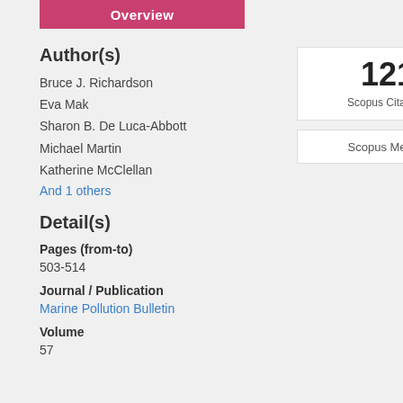Overview
Author(s)
Bruce J. Richardson
Eva Mak
Sharon B. De Luca-Abbott
Michael Martin
Katherine McClellan
And 1 others
121 Scopus Citations
Scopus Metrics
Detail(s)
Pages (from-to)
503-514
Journal / Publication
Marine Pollution Bulletin
Volume
57